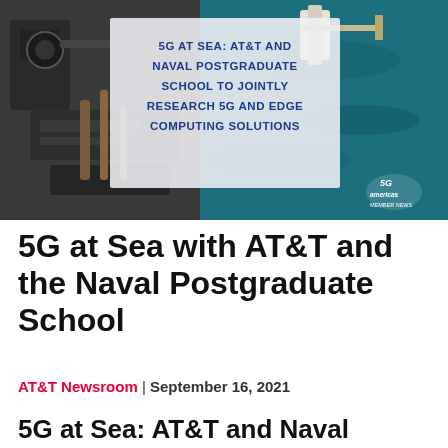[Figure (infographic): Banner image showing naval/maritime equipment on left and aerial sea view on right, with centered white overlay box containing bold blue text: '5G AT SEA: AT&T AND NAVAL POSTGRADUATE SCHOOL TO JOINTLY RESEARCH 5G AND EDGE COMPUTING SOLUTIONS'. A '5G Americas MEMBER NEWS' logo appears in the bottom-right corner.]
5G at Sea with AT&T and the Naval Postgraduate School
AT&T Newsroom | September 16, 2021
5G at Sea: AT&T and Naval